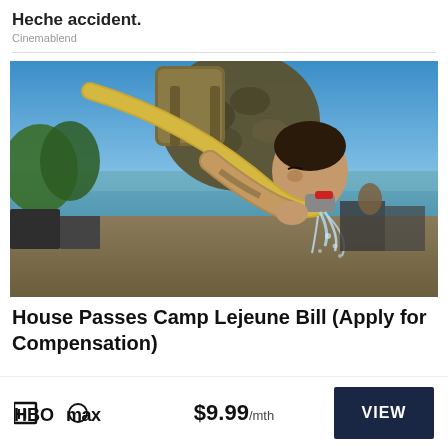Heche accident.
Cinemablend
[Figure (photo): A US Marine in camouflage gear drinking water from a hose outdoors near a waterfront, with military equipment visible in the background.]
House Passes Camp Lejeune Bill (Apply for Compensation)
[Figure (logo): HBO Max logo]
$9.99 /mth
VIEW